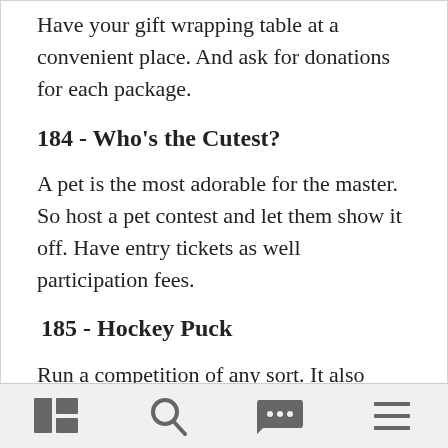Have your gift wrapping table at a convenient place. And ask for donations for each package.
184 - Who's the Cutest?
A pet is the most adorable for the master. So host a pet contest and let them show it off. Have entry tickets as well participation fees.
185 - Hockey Puck
Run a competition of any sort. It also works with popular sports like basketball, dart. Book your venue ahead of time.
[navigation bar with icons]